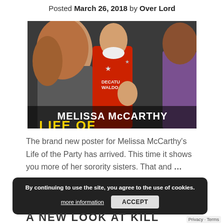Posted March 26, 2018 by Over Lord
[Figure (photo): Movie poster for 'Life of the Party' featuring Melissa McCarthy in a red Decatur cheerleader outfit flanked by other women. White bold text reads 'MELISSA McCARTHY' and yellow stylized text begins below.]
The brand new poster for Melissa McCarthy's Life of the Party has arrived. This time it shows you more of her sorority sisters. That and …
By continuing to use the site, you agree to the use of cookies.
more information
ACCEPT
A NEW LOOK AT KILL